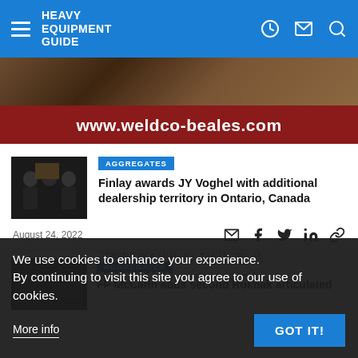Heavy Equipment Guide
[Figure (photo): Advertisement banner for weldco-beales.com showing dirt/aggregate background with red bar and white text URL]
[Figure (photo): Thumbnail photo of people (appears to be a business handshake or meeting scene)]
AGGREGATES
Finlay awards JY Voghel with additional dealership territory in Ontario, Canada
August 24, 2022
AGGREGATES
FP McCann adds second Rokbak articulated
We use cookies to enhance your experience. By continuing to visit this site you agree to our use of cookies.
More info
GOT IT!